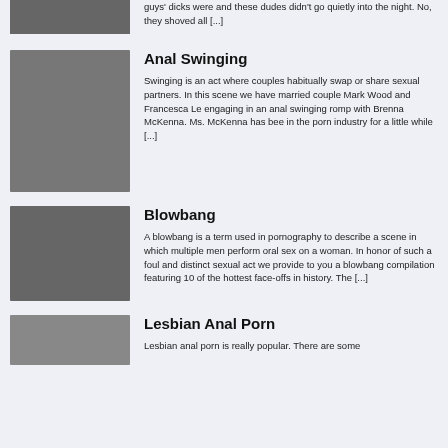guys' dicks were and these dudes didn't go quietly into the night. No, they shoved all [...]
Anal Swinging
Swinging is an act where couples habitually swap or share sexual partners. In this scene we have married couple Mark Wood and Francesca Le engaging in an anal swinging romp with Brenna McKenna. Ms. McKenna has bee in the porn industry for a little while [...]
Blowbang
A blowbang is a term used in pornography to describe a scene in which multiple men perform oral sex on a woman. In honor of such a foul and distinct sexual act we provide to you a blowbang compilation featuring 10 of the hottest face-offs in history. The [...]
Lesbian Anal Porn
Lesbian anal porn is really popular. There are some